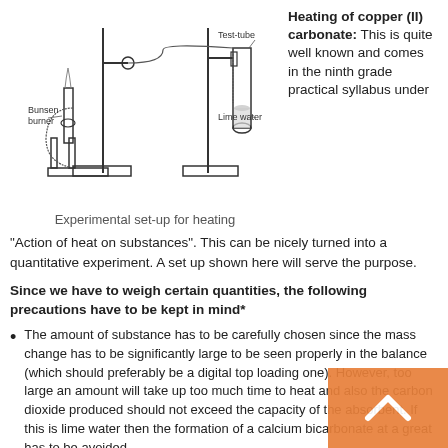[Figure (engineering-diagram): Experimental set-up for heating copper (II) carbonate showing a Bunsen burner on the left connected via tubing to a test-tube stand with a test-tube containing lime water on the right.]
Experimental set-up for heating
Heating of copper (II) carbonate: This is quite well known and comes in the ninth grade practical syllabus under “Action of heat on substances”. This can be nicely turned into a quantitative experiment. A set up shown here will serve the purpose.
Since we have to weigh certain quantities, the following precautions have to be kept in mind*
The amount of substance has to be carefully chosen since the mass change has to be significantly large to be seen properly in the balance (which should preferably be a digital top loading one). However, too large an amount will take up too much time to heat and also the carbon dioxide produced should not exceed the capacity of the absorbent. If this is lime water then the formation of a calcium bicarbonate at a great has to be avoided...